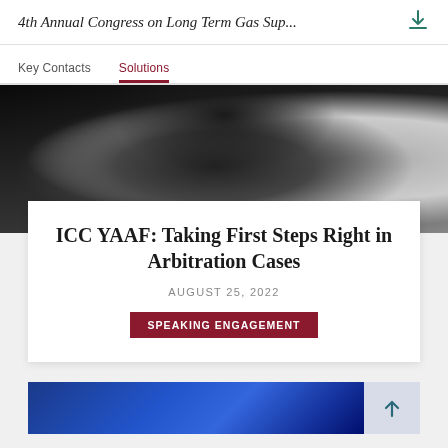4th Annual Congress on Long Term Gas Sup...
Key Contacts  Solutions
[Figure (photo): Blurred photo of a businessman in a dark suit sitting at a desk]
ICC YAAF: Taking First Steps Right in Arbitration Cases
AUGUST 25, 2022
SPEAKING ENGAGEMENT
[Figure (photo): Blue gradient background, partial preview of next card with scroll-up button]